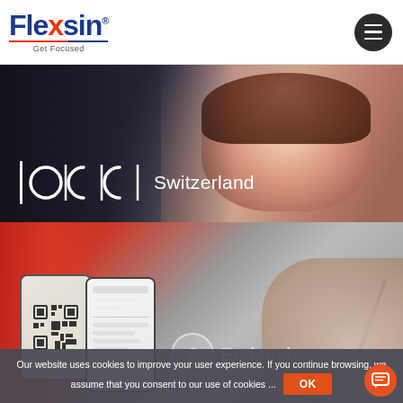[Figure (logo): Flexsin logo with blue and red text, 'Get Focused' tagline, and a hamburger menu button on the right]
[Figure (photo): OCC Switzerland banner with a smiling woman with glasses on a dark overlay background, showing the OCC Switzerland logo in white]
[Figure (photo): Endcash banner showing hands holding smartphones with QR code, with Endcash logo and 'SCAN.PAY.DONE' tagline]
Our website uses cookies to improve your user experience. If you continue browsing, we assume that you consent to our use of cookies ...